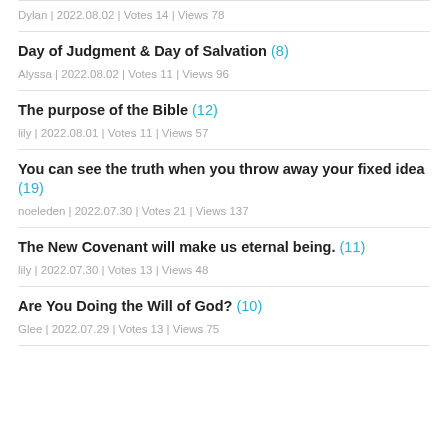Dylan | 2022.08.02 | Votes 14 | Views 78
Day of Judgment & Day of Salvation (8)
Alyssa | 2022.08.02 | Votes 11 | Views 96
The purpose of the Bible (12)
lily | 2022.08.01 | Votes 11 | Views 57
You can see the truth when you throw away your fixed idea (19)
noeleden | 2022.07.30 | Votes 21 | Views 137
The New Covenant will make us eternal being. (11)
lily | 2022.07.30 | Votes 13 | Views 48
Are You Doing the Will of God? (10)
Glee | 2022.07.29 | Votes 13 | Views 75